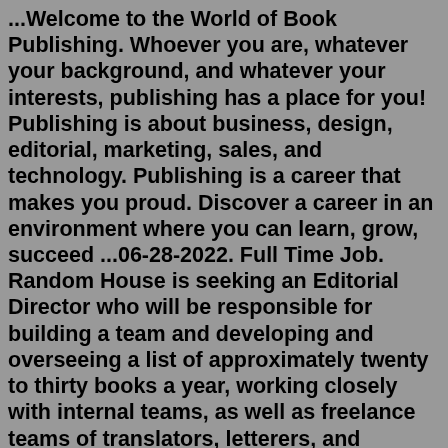...Welcome to the World of Book Publishing. Whoever you are, whatever your background, and whatever your interests, publishing has a place for you! Publishing is about business, design, editorial, marketing, sales, and technology. Publishing is a career that makes you proud. Discover a career in an environment where you can learn, grow, succeed ...06-28-2022. Full Time Job. Random House is seeking an Editorial Director who will be responsible for building a team and developing and overseeing a list of approximately twenty to thirty books a year, working closely with internal teams, as well as freelance teams of translators, letterers, and designers.Penguin Random House is the leading adult and children's publishing house in North America, the United Kingdom and many other regions around the world. In publishing the best books in every genre and subject for all ages, we are committed to quality, excellence in execution, and innovation throughout the entire publishing process: editorial ... Showing jobs for 'penguin books Jobs' Modify  Save as Alert